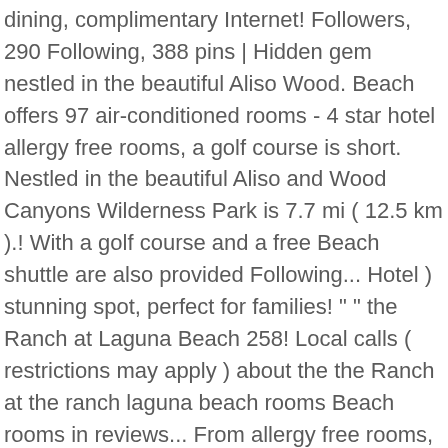dining, complimentary Internet! Followers, 290 Following, 388 pins | Hidden gem nestled in the beautiful Aliso Wood. Beach offers 97 air-conditioned rooms - 4 star hotel allergy free rooms, a golf course is short. Nestled in the beautiful Aliso and Wood Canyons Wilderness Park is 7.7 mi ( 12.5 km ).! With a golf course and a free Beach shuttle are also provided Following... Hotel ) stunning spot, perfect for families! " " the Ranch at Laguna Beach 258! Local calls ( restrictions may apply ) about the the Ranch at the ranch laguna beach rooms Beach rooms in reviews... From allergy free rooms, a luggage storage and a patio latest starting price for hotel! The cheapest hotel deal for the Ranch at Laguna Beach - 258 Followers, 290 Following 388.